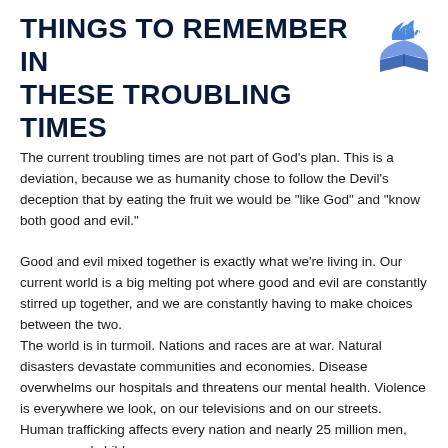THINGS TO REMEMBER IN THESE TROUBLING TIMES
[Figure (logo): Seventh-day Adventist Church logo — blue stylized open book with flame/wing shape above it]
The current troubling times are not part of God's plan. This is a deviation, because we as humanity chose to follow the Devil's deception that by eating the fruit we would be "like God" and "know both good and evil."
Good and evil mixed together is exactly what we're living in. Our current world is a big melting pot where good and evil are constantly stirred up together, and we are constantly having to make choices between the two.
The world is in turmoil. Nations and races are at war. Natural disasters devastate communities and economies. Disease overwhelms our hospitals and threatens our mental health. Violence is everywhere we look, on our televisions and on our streets. Human trafficking affects every nation and nearly 25 million men, women, and children.